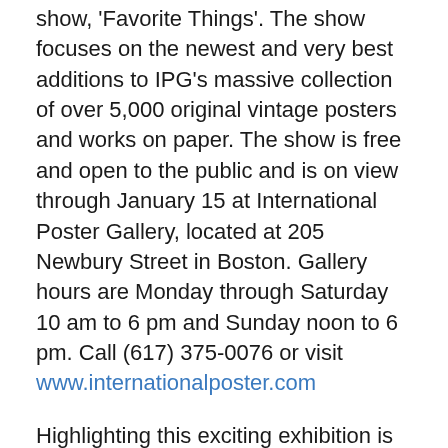show, 'Favorite Things'. The show focuses on the newest and very best additions to IPG's massive collection of over 5,000 original vintage posters and works on paper. The show is free and open to the public and is on view through January 15 at International Poster Gallery, located at 205 Newbury Street in Boston. Gallery hours are Monday through Saturday 10 am to 6 pm and Sunday noon to 6 pm. Call (617) 375-0076 or visit www.internationalposter.com
Highlighting this exciting exhibition is Peter Birkhauser's 1942 poster for the Swiss department store Rheinbrucke. The poster is a fine example from the hugely popular Swiss Object Poster style, which sought to create unforgettable icons out of everyday objects. This elegant poster of a wrapped box is a perfect example of Birkhauser's prowess as a designer